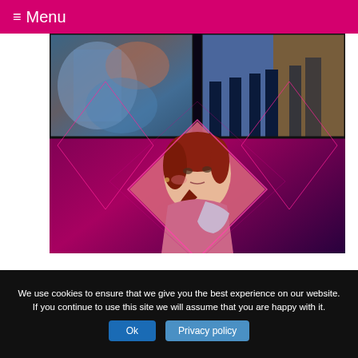≡ Menu
[Figure (photo): Art gallery collage with diamond/rotated-square shapes on a dark magenta/purple background. Top left shows colorful abstract paintings on a wall. Top right shows people's legs near large colorful artwork. Center diamond shows a sketch/painting of a young woman with red hair in a pink/mauve outfit, looking to the side, reading or holding something.]
We use cookies to ensure that we give you the best experience on our website. If you continue to use this site we will assume that you are happy with it.
Ok
Privacy policy